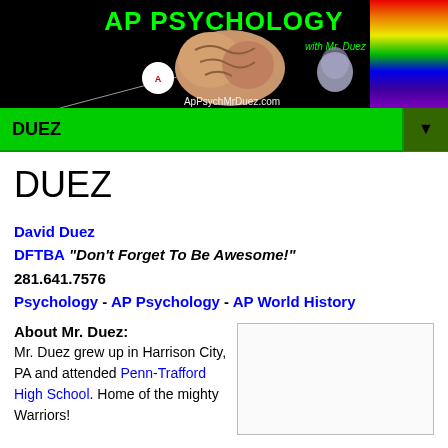[Figure (illustration): AP Psychology banner with brain image, rainbow, and text 'AP PSYCHOLOGY with Mr. Duez' and 'ApPsychMrDuez.com' on black background]
DUEZ
DUEZ
David Duez
DFTBA "Don't Forget To Be Awesome!"
281.641.7576
Psychology - AP Psychology - AP World History
About Mr. Duez:
Mr. Duez grew up in Harrison City, PA and attended Penn-Trafford High School. Home of the mighty Warriors!